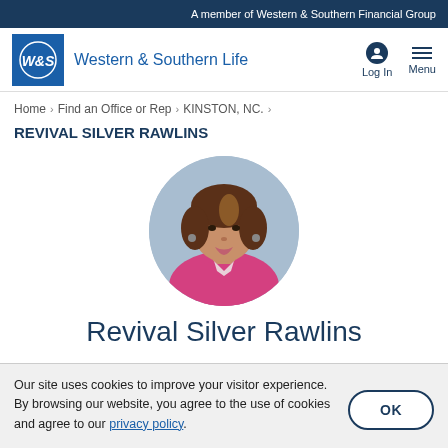A member of Western & Southern Financial Group
[Figure (logo): Western & Southern Life logo with W&S circular emblem and brand name]
Home > Find an Office or Rep > KINSTON, NC. >
REVIVAL SILVER RAWLINS
[Figure (photo): Circular profile photo of Revival Silver Rawlins, a woman with brown hair wearing a pink blazer]
Revival Silver Rawlins
Our site uses cookies to improve your visitor experience. By browsing our website, you agree to the use of cookies and agree to our privacy policy.